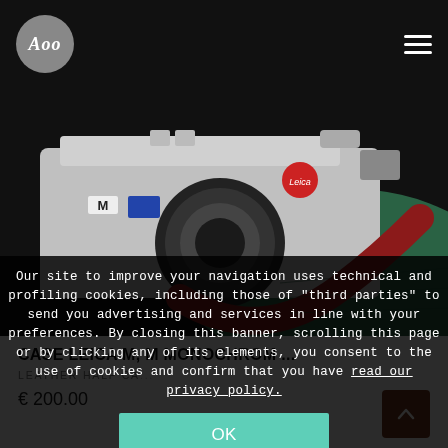ACO logo and navigation header
[Figure (photo): Leica M camera with green leather half case and red strap, photographed on dark background]
CASE LEICA M, M MONOCHROM ...
LEATHER HALF CA...
€ 200.00
Our site to improve your navigation uses technical and profiling cookies, including those of "third parties" to send you advertising and services in line with your preferences. By closing this banner, scrolling this page or by clicking any of its elements, you consent to the use of cookies and confirm that you have read our privacy policy.
OK
Privacy Policy